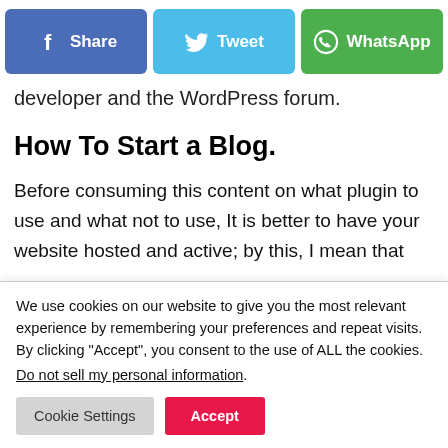[Figure (other): Social sharing buttons: Facebook Share (blue), Twitter Tweet (light blue), WhatsApp (green)]
developer and the WordPress forum.
How To Start a Blog.
Before consuming this content on what plugin to use and what not to use, It is better to have your website hosted and active; by this, I mean that
We use cookies on our website to give you the most relevant experience by remembering your preferences and repeat visits. By clicking “Accept”, you consent to the use of ALL the cookies.
Do not sell my personal information.